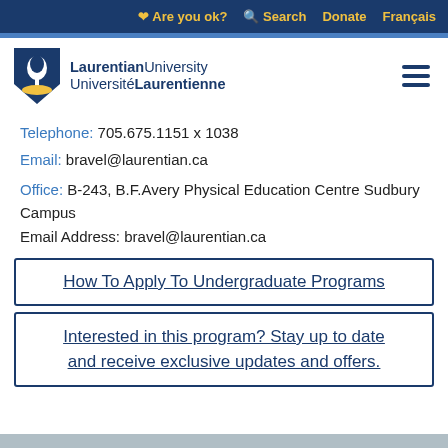❤ Are you ok?  🔍 Search  Donate  Français
[Figure (logo): Laurentian University / Université Laurentienne shield logo with tree and sun motif]
Telephone: 705.675.1151 x 1038
Email: bravel@laurentian.ca
Office: B-243, B.F.Avery Physical Education Centre Sudbury Campus
Email Address: bravel@laurentian.ca
How To Apply To Undergraduate Programs
Interested in this program? Stay up to date and receive exclusive updates and offers.